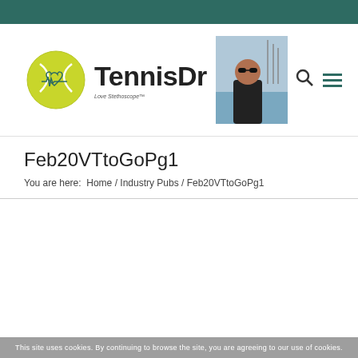TennisDr - Love Stethoscope™
[Figure (logo): TennisDr logo with yellow tennis ball with heart and EKG line, text 'TennisDr', tagline 'Love Stethoscope™']
[Figure (photo): Photo of a man wearing sunglasses outdoors with a waterfront background]
Feb20VTtoGoPg1
You are here:  Home / Industry Pubs / Feb20VTtoGoPg1
This site uses cookies. By continuing to browse the site, you are agreeing to our use of cookies.